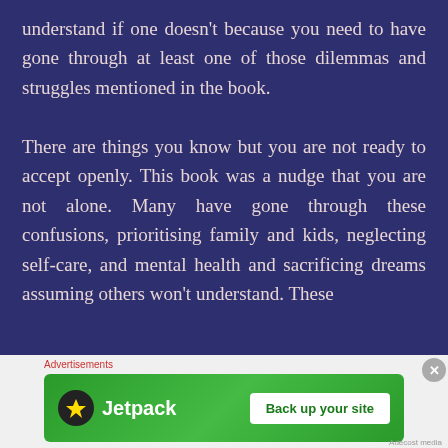understand if one doesn't because you need to have gone through at least one of those dilemmas and struggles mentioned in the book.

There are things you know but you are not ready to accept openly. This book was a nudge that you are not alone. Many have gone through these confusions, prioritising family and kids, neglecting self-care, and mental health and sacrificing dreams assuming others won't understand. These
[Figure (other): Advertisement banner for Jetpack with green background showing Jetpack logo and 'Back up your site' button]